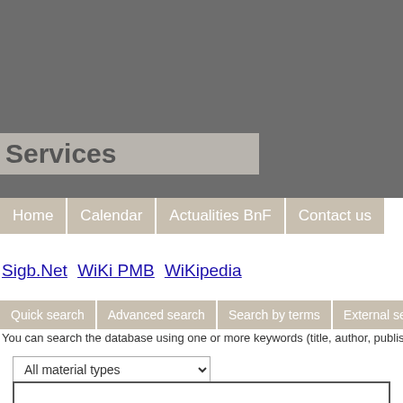[Figure (screenshot): Gray header background area at top of page]
Services
Home | Calendar | Actualities BnF | Contact us
Sigb.Net WiKi PMB WiKipedia
Quick search | Advanced search | Search by terms | External search
You can search the database using one or more keywords (title, author, publisher, c…
All material types
Search in...